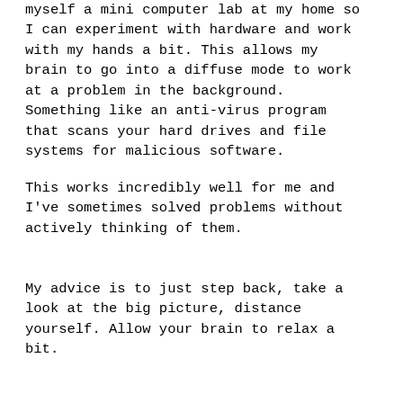myself a mini computer lab at my home so I can experiment with hardware and work with my hands a bit. This allows my brain to go into a diffuse mode to work at a problem in the background. Something like an anti-virus program that scans your hard drives and file systems for malicious software.
This works incredibly well for me and I've sometimes solved problems without actively thinking of them.
My advice is to just step back, take a look at the big picture, distance yourself. Allow your brain to relax a bit.